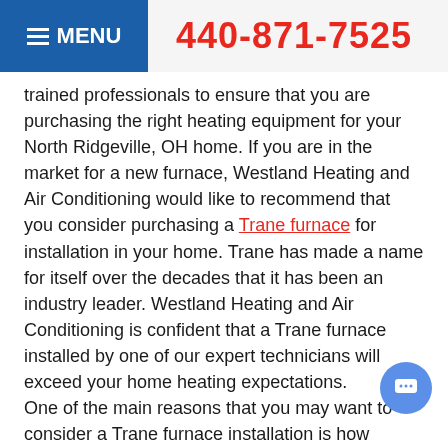≡ MENU   440-871-7525
trained professionals to ensure that you are purchasing the right heating equipment for your North Ridgeville, OH home. If you are in the market for a new furnace, Westland Heating and Air Conditioning would like to recommend that you consider purchasing a Trane furnace for installation in your home. Trane has made a name for itself over the decades that it has been an industry leader. Westland Heating and Air Conditioning is confident that a Trane furnace installed by one of our expert technicians will exceed your home heating expectations.
One of the main reasons that you may want to consider a Trane furnace installation is how efficient Trane products are. The more efficient your home heating system is, the less money it will cost to keep your home comfortable. A Trane XC95m variable speed furnace boasts up to 95% AFUE. AFUE stands for annual fuel utilization efficiency. What this number means is that the Trane XC95m furnace will successfully convert 95% of